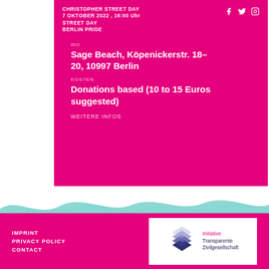CHRISTOPHER STREET DAY BERLIN PRIDE | 7 OKTOBER 2022 , 16:00 Uhr
WO
Sage Beach, Köpenickerstr. 18-20, 10997 Berlin
KOSTEN
Donations based (10 to 15 Euros suggested)
WEITERE INFOS
[Figure (illustration): Teal/cyan wave decoration between content and footer]
IMPRINT | PRIVACY POLICY | CONTACT | Initiative Transparente Zivilgesellschaft logo